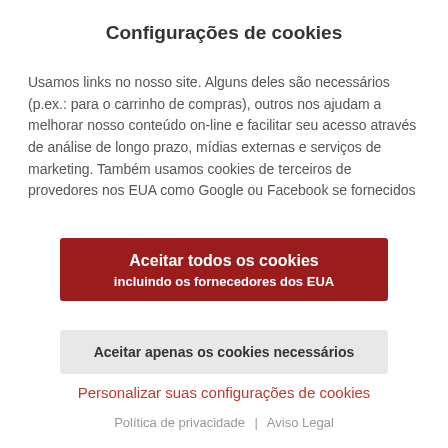Configurações de cookies
Usamos links no nosso site. Alguns deles são necessários (p.ex.: para o carrinho de compras), outros nos ajudam a melhorar nosso conteúdo on-line e facilitar seu acesso através de análise de longo prazo, mídias externas e serviços de marketing. Também usamos cookies de terceiros de provedores nos EUA como Google ou Facebook se fornecidos...
Aceitar todos os cookies
incluindo os fornecedores dos EUA
Aceitar apenas os cookies necessários
Personalizar suas configurações de cookies
Política de privacidade  |  Aviso Legal